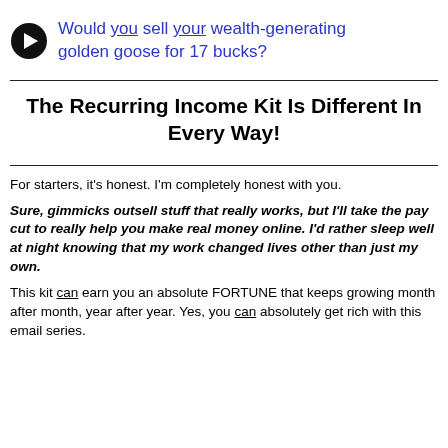Would you sell your wealth-generating golden goose for 17 bucks?
The Recurring Income Kit Is Different In Every Way!
For starters, it's honest. I'm completely honest with you.
Sure, gimmicks outsell stuff that really works, but I'll take the pay cut to really help you make real money online. I'd rather sleep well at night knowing that my work changed lives other than just my own.
This kit can earn you an absolute FORTUNE that keeps growing month after month, year after year. Yes, you can absolutely get rich with this email series.